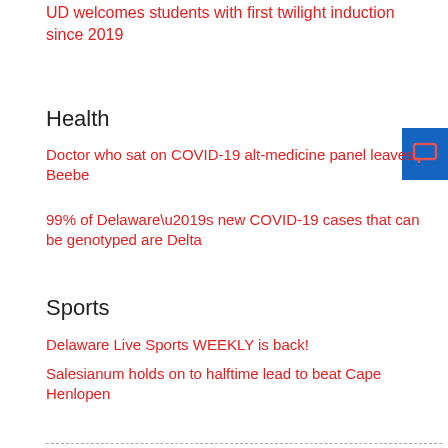UD welcomes students with first twilight induction since 2019
Health
Doctor who sat on COVID-19 alt-medicine panel leaves Beebe
99% of Delaware’s new COVID-19 cases that can be genotyped are Delta
Sports
Delaware Live Sports WEEKLY is back!
Salesianum holds on to halftime lead to beat Cape Henlopen